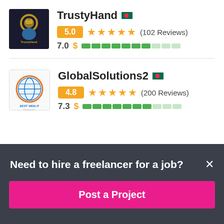[Figure (logo): TrustyHand profile avatar - dark background with logo]
TrustyHand 🇧🇩
5.0 ★★★★★ (102 Reviews)
7.0 $ ▓▓▓▓▓▓▓░░░
[Figure (logo): GlobalSolutions2 profile avatar - Best Web-IT logo]
GlobalSolutions2 🇧🇩
4.8 ★★★★★ (200 Reviews)
7.3 $ ▓▓▓▓▓▓▓░░░
Need to hire a freelancer for a job?
Post a Project